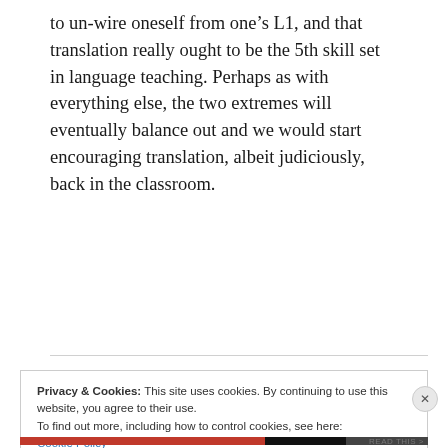to un-wire oneself from one's L1, and that translation really ought to be the 5th skill set in language teaching. Perhaps as with everything else, the two extremes will eventually balance out and we would start encouraging translation, albeit judiciously, back in the classroom.
Reply
Privacy & Cookies: This site uses cookies. By continuing to use this website, you agree to their use.
To find out more, including how to control cookies, see here:
Cookie Policy
Close and accept